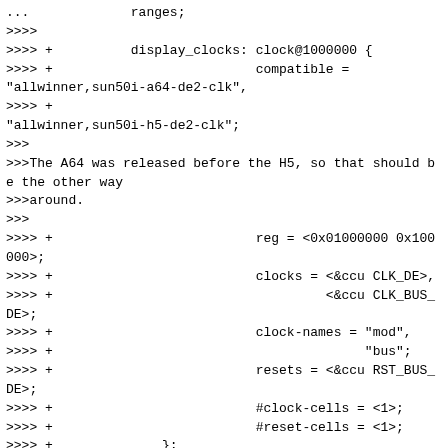...             ranges;
>>>>
>>>> +          display_clocks: clock@1000000 {
>>>> +                          compatible =
"allwinner,sun50i-a64-de2-clk",
>>>> +
"allwinner,sun50i-h5-de2-clk";
>>>
>>>The A64 was released before the H5, so that should be the other way
>>>around.
>>>
>>>> +                          reg = <0x01000000 0x100000>;
>>>> +                          clocks = <&ccu CLK_DE>,
>>>> +                                   <&ccu CLK_BUS_DE>;
>>>> +                          clock-names = "mod",
>>>> +                                        "bus";
>>>> +                          resets = <&ccu RST_BUS_DE>;
>>>> +                          #clock-cells = <1>;
>>>> +                          #reset-cells = <1>;
>>>> +              };
>>>> +
>>>
>>>So it turns out we don't need the SRAM to access the CCU driver?
>>
>> As now U-Boot claims SRAM, people may forget thus :-(
>
>I've sent few mails about how we represent de2 with sram.c [1] but